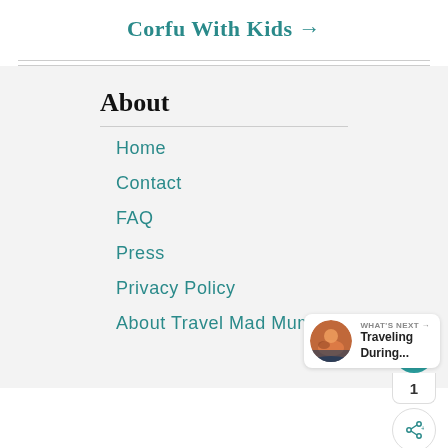Corfu With Kids →
About
Home
Contact
FAQ
Press
Privacy Policy
About Travel Mad Mum
[Figure (screenshot): Social sharing widget with heart/like button showing count of 1, and a share button]
WHAT'S NEXT → Traveling During...